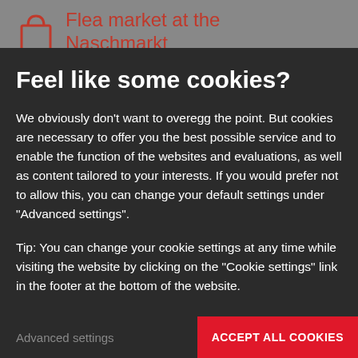Flea market at the Naschmarkt
Feel like some cookies?
We obviously don't want to overegg the point. But cookies are necessary to offer you the best possible service and to enable the function of the websites and evaluations, as well as content tailored to your interests. If you would prefer not to allow this, you can change your default settings under "Advanced settings".
Tip: You can change your cookie settings at any time while visiting the website by clicking on the "Cookie settings" link in the footer at the bottom of the website.
Advanced settings
ACCEPT ALL COOKIES